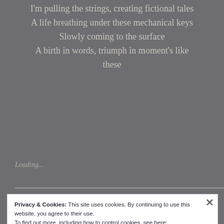I'm pulling the strings, creating fictional tales
A life breathing under these mechanical keys
Slowly coming to the surface
A birth in words, triumph in moment's like these
Loading...
Privacy & Cookies: This site uses cookies. By continuing to use this website, you agree to their use.
To find out more, including how to control cookies, see here:
Cookie Policy
Close and accept